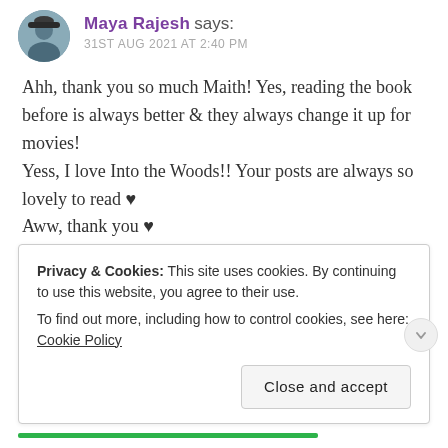Maya Rajesh says: 31ST AUG 2021 AT 2:40 PM
Ahh, thank you so much Maith! Yes, reading the book before is always better & they always change it up for movies!
Yess, I love Into the Woods!! Your posts are always so lovely to read ♥
Aww, thank you ♥
Have a great September too!
★ Liked by 1 person
Privacy & Cookies: This site uses cookies. By continuing to use this website, you agree to their use.
To find out more, including how to control cookies, see here: Cookie Policy
Close and accept